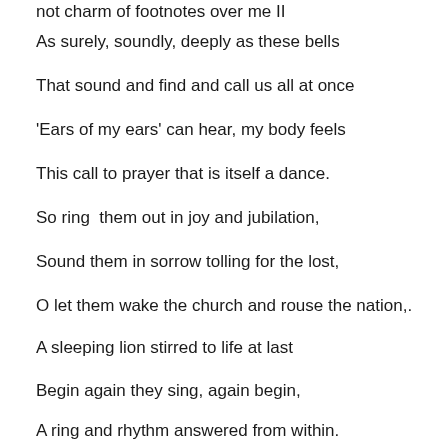not charm of footnotes over me II
As surely, soundly, deeply as these bells
That sound and find and call us all at once
'Ears of my ears' can hear, my body feels
This call to prayer that is itself a dance.
So ring  them out in joy and jubilation,
Sound them in sorrow tolling for the lost,
O let them wake the church and rouse the nation,.
A sleeping lion stirred to life at last
Begin again they sing, again begin,
A ring and rhythm answered from within.